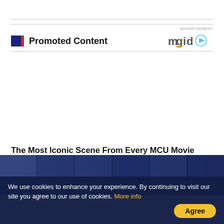ADVERTISEMENT
Promoted Content
[Figure (logo): mgid logo with play button icon]
The Most Iconic Scene From Every MCU Movie
Brainberries
[Figure (photo): Thumbnail strip with social media icons on dark blue background]
We use cookies to enhance your experience. By continuing to visit our site you agree to our use of cookies. More info